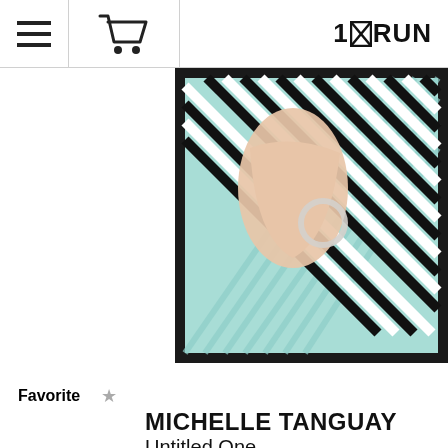1×RUN
[Figure (photo): Painting of a woman's profile/neck with a hoop earring, wearing a garment with black and white diagonal stripes, against a teal background, in a black frame]
Favorite ☆
MICHELLE TANGUAY
Untitled One
SOLD OUT
Run of 1
[Figure (photo): Painting of a woman's profile face and ear, with brown hair, wearing a black and white striped garment, against a teal background, in a black frame — partially visible, cropped at bottom]